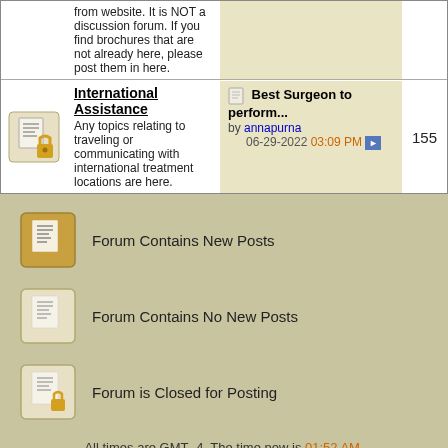from website. It is NOT a discussion forum. If you find brochures that are not already here, please post them in here.
International Assistance
Any topics relating to traveling or communicating with international treatment locations are here.
Best Surgeon to perform... by annapurna 06-29-2022 03:09 PM
155
Forum Contains New Posts
Forum Contains No New Posts
Forum is Closed for Posting
All times are GMT -4. The time now is 01:52 AM.